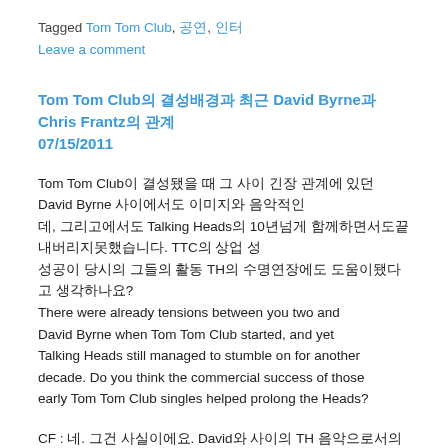Tagged Tom Tom Club, 공연, 인터 Leave a comment
Tom Tom Club의 결성배경과 최근 David Byrne과 Chris Frantz의 관계 07/15/2011
Tom Tom Club이 결성됐을 때 그 사이 긴장 관계에 있던 David Byrne 사이에서도 이미지와 음악적인, 그리고에서도 Talking Heads의 10년넘게 함께하면서도끝내버리지못했습니다. TTC의 상업 성 성공이 당시의 그들의 활동 TH의 수명연장에도 도움이됐다고 생각하나요?
There were already tensions between you two and David Byrne when Tom Tom Club started, and yet Talking Heads still managed to stumble on for another decade. Do you think the commercial success of those early Tom Tom Club singles helped prolong the Heads?
CF : 네. 그건 사실이에요. David와 사이의 TH 음악으로서의 만들어낸 결과물의 역할분담에 관한 논 란 이었어요. 당신 생각에 그 관계가 그 나중에 어떻게 되었나 알아요. 결론 그 어떤 방식 그 되었든지 그의 역할은 이미오래됬어요. 이미지에 대해서도. 광고도 아닌 데. 이러한 모든것들이 모두를위한 가치있는 것들이 그는 나중에 David의